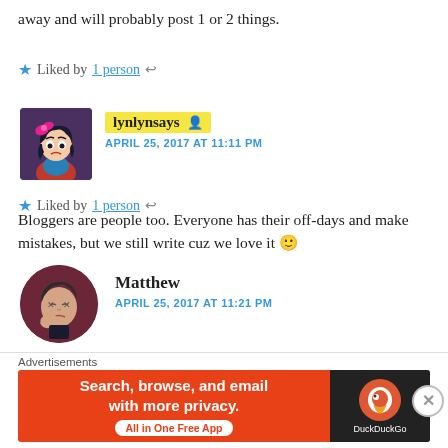away and will probably post 1 or 2 things.
★ Liked by 1 person ↩
lynlynsays 👤
APRIL 25, 2017 AT 11:11 PM
Bloggers are people too. Everyone has their off-days and make mistakes, but we still write cuz we love it 🙂
★ Liked by 1 person ↩
Matthew
APRIL 25, 2017 AT 11:21 PM
True. We are people and it's natural to take a break. We all need
Advertisements
Search, browse, and email with more privacy. All in One Free App  DuckDuckGo